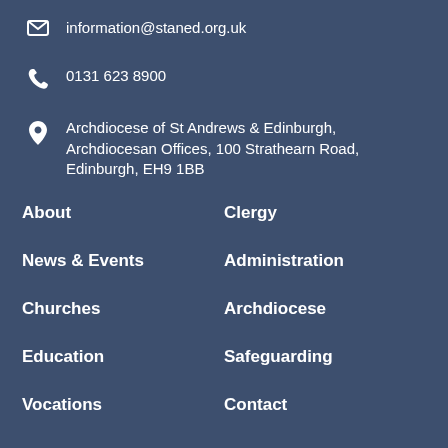information@staned.org.uk
0131 623 8900
Archdiocese of St Andrews & Edinburgh, Archdiocesan Offices, 100 Strathearn Road, Edinburgh, EH9 1BB
About
Clergy
News & Events
Administration
Churches
Archdiocese
Education
Safeguarding
Vocations
Contact